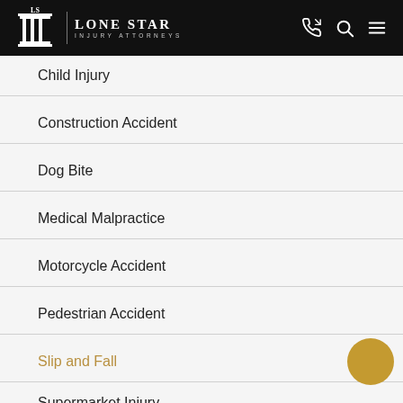LONE STAR INJURY ATTORNEYS
Child Injury
Construction Accident
Dog Bite
Medical Malpractice
Motorcycle Accident
Pedestrian Accident
Slip and Fall
Supermarket Injury